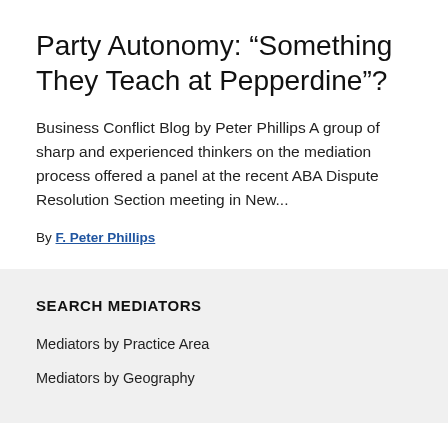Party Autonomy: “Something They Teach at Pepperdine”?
Business Conflict Blog by Peter Phillips A group of sharp and experienced thinkers on the mediation process offered a panel at the recent ABA Dispute Resolution Section meeting in New…
By F. Peter Phillips
SEARCH MEDIATORS
Mediators by Practice Area
Mediators by Geography